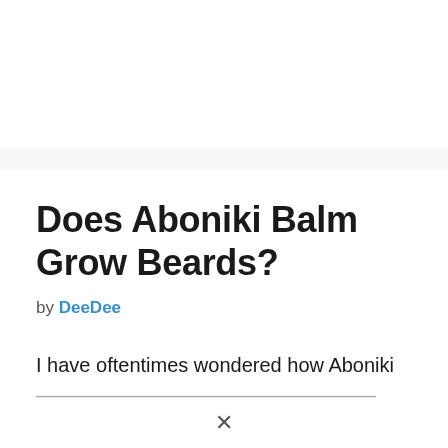Does Aboniki Balm Grow Beards?
by DeeDee
I have oftentimes wondered how Aboniki